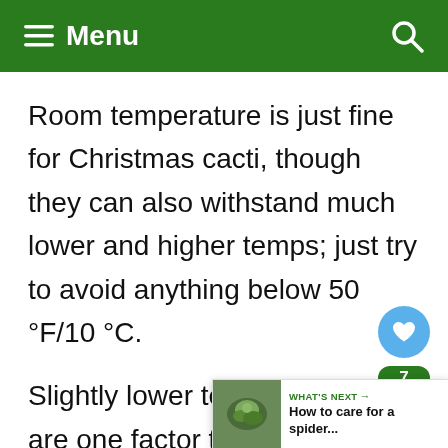≡ Menu
Room temperature is just fine for Christmas cacti, though they can also withstand much lower and higher temps; just try to avoid anything below 50 °F/10 °C.
Slightly lower temperatures are one factor that triggers bud formation in Christmas cacti, although it do seem to be an absolute must for